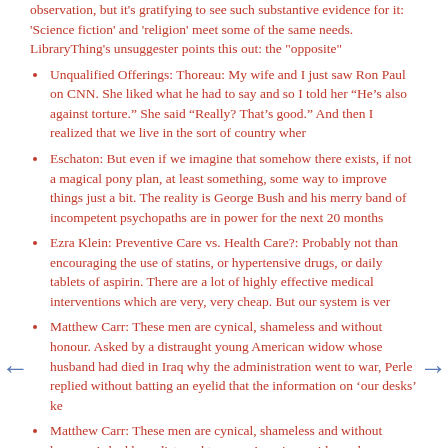observation, but it's gratifying to see such substantive evidence for it: 'Science fiction' and 'religion' meet some of the same needs. LibraryThing's unsuggester points this out: the "opposite"
Unqualified Offerings: Thoreau: My wife and I just saw Ron Paul on CNN. She liked what he had to say and so I told her “He’s also against torture.” She said “Really? That’s good.” And then I realized that we live in the sort of country wher
Eschaton: But even if we imagine that somehow there exists, if not a magical pony plan, at least something, some way to improve things just a bit. The reality is George Bush and his merry band of incompetent psychopaths are in power for the next 20 months
Ezra Klein: Preventive Care vs. Health Care?: Probably not than encouraging the use of statins, or hypertensive drugs, or daily tablets of aspirin. There are a lot of highly effective medical interventions which are very, very cheap. But our system is ver
Matthew Carr: These men are cynical, shameless and without honour. Asked by a distraught young American widow whose husband had died in Iraq why the administration went to war, Perle replied without batting an eyelid that the information on ‘our desks’ ke
Matthew Carr: These men are cynical, shameless and without honour. Asked by a distraught young American widow whose husband had died in Iraq why the administration went to war, Perle